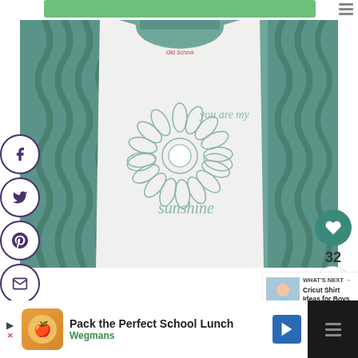[Figure (photo): Close-up photo of a children's white t-shirt with green/teal ruffled sleeves. The shirt has a sunflower graphic with text 'you are my sunshine' printed in teal/mint color. Social media sharing buttons (Facebook, Twitter, Pinterest, Email) visible on the left side. A heart/like button and share count of 32 visible on the right side.]
WHAT'S NEXT →
Cricut Shirt Ideas for Boys
Pack the Perfect School Lunch
Wegmans